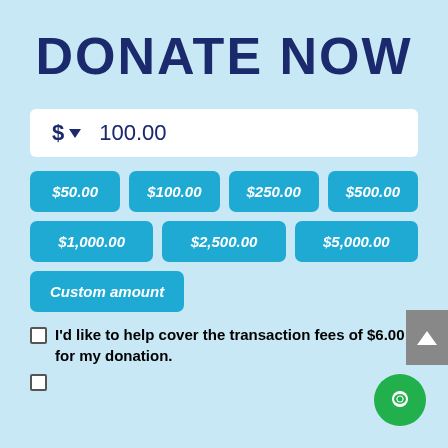DONATE NOW
$ ▾  100.00
$50.00
$100.00
$250.00
$500.00
$1,000.00
$2,500.00
$5,000.00
Custom amount
I'd like to help cover the transaction fees of $6.00 for my donation.